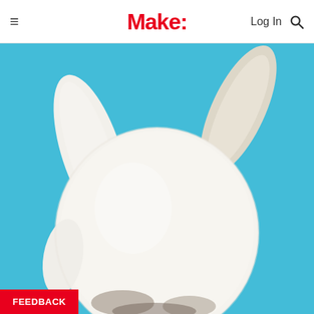Make:
[Figure (photo): Close-up photograph of a white felted wool bunny rabbit figure with long floppy ears, set against a bright blue background. The bunny's body is round and fluffy, with one ear drooping to the left and one raised to the upper right. The bottom of the image shows the bunny's feet/base with a slightly darker shadow.]
FEEDBACK